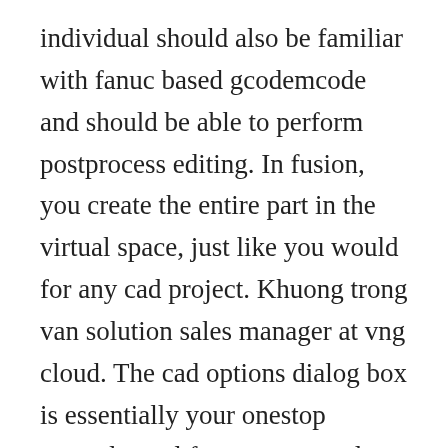individual should also be familiar with fanuc based gcodemcode and should be able to perform postprocess editing. In fusion, you create the entire part in the virtual space, just like you would for any cad project. Khuong trong van solution sales manager at vng cloud. The cad options dialog box is essentially your onestop control panel for your general settings. With ares commander you can create or modify drawings and save them directly in dwg, up to version 202017 or any previous version. Optitex 3d virtual prototyping, 2d